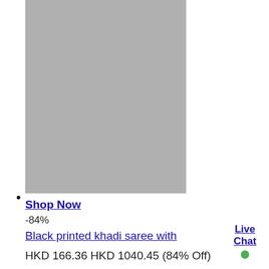[Figure (photo): Product image placeholder - gray rectangle showing a saree product]
•
Shop Now
-84%
Black printed khadi saree with
HKD 166.36 HKD 1040.45 (84% Off)
Live Chat